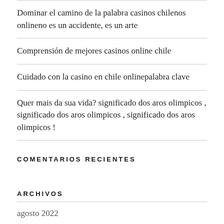Dominar el camino de la palabra casinos chilenos onlineno es un accidente, es un arte
Comprensión de mejores casinos online chile
Cuidado con la casino en chile onlinepalabra clave
Quer mais da sua vida? significado dos aros olimpicos , significado dos aros olimpicos , significado dos aros olimpicos !
COMENTARIOS RECIENTES
ARCHIVOS
agosto 2022
julio 2022